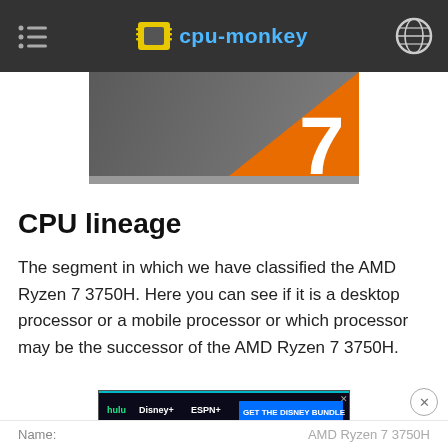cpu-monkey
[Figure (logo): AMD Ryzen 7 product image with orange slash and large '7' numeral on dark grey background]
CPU lineage
The segment in which we have classified the AMD Ryzen 7 3750H. Here you can see if it is a desktop processor or a mobile processor or which processor may be the successor of the AMD Ryzen 7 3750H.
[Figure (screenshot): Hulu Disney+ ESPN+ advertisement: GET THE DISNEY BUNDLE. Incl. Hulu (ad-supported) or Hulu (No Ads). Access content from each service separately. ©2021 Disney and its related entities.]
Name: AMD Ryzen 7 3750H